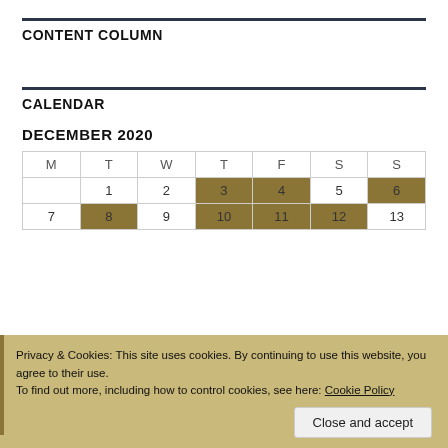CONTENT COLUMN
CALENDAR
DECEMBER 2020
| M | T | W | T | F | S | S |
| --- | --- | --- | --- | --- | --- | --- |
|  | 1 | 2 | 3 | 4 | 5 | 6 |
| 7 | 8 | 9 | 10 | 11 | 12 | 13 |
Privacy & Cookies: This site uses cookies. By continuing to use this website, you agree to their use.
To find out more, including how to control cookies, see here: Cookie Policy
Close and accept